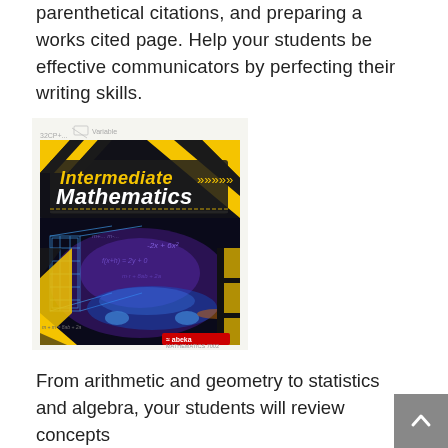parenthetical citations, and preparing a works cited page. Help your students be effective communicators by perfecting their writing skills.
[Figure (photo): Book cover of 'Intermediate Mathematics Work-text' published by Abeka, featuring yellow and black diagonal stripes, a futuristic car rendered in blue wireframe, a glowing blue cityscape, and math equations in the background.]
From arithmetic and geometry to statistics and algebra, your students will review concepts